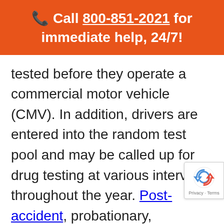📞 Call 800-851-2021 for immediate help, 24/7!
tested before they operate a commercial motor vehicle (CMV). In addition, drivers are entered into the random test pool and may be called up for drug testing at various intervals throughout the year. Post-accident, probationary, reasonable suspicion, and return to duty testing are also mandatory.